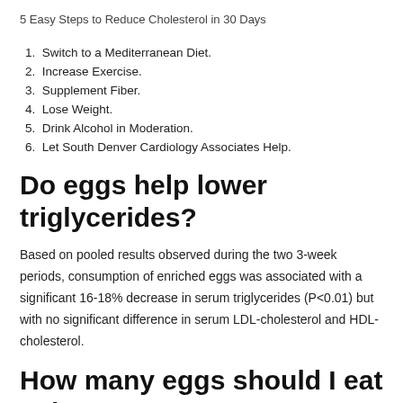5 Easy Steps to Reduce Cholesterol in 30 Days
1. Switch to a Mediterranean Diet.
2. Increase Exercise.
3. Supplement Fiber.
4. Lose Weight.
5. Drink Alcohol in Moderation.
6. Let South Denver Cardiology Associates Help.
Do eggs help lower triglycerides?
Based on pooled results observed during the two 3-week periods, consumption of enriched eggs was associated with a significant 16-18% decrease in serum triglycerides (P<0.01) but with no significant difference in serum LDL-cholesterol and HDL-cholesterol.
How many eggs should I eat a day